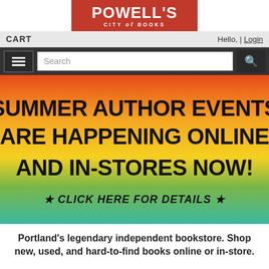[Figure (logo): Powell's City of Books logo — red rectangle with white text]
CART    Hello, | Login
[Figure (screenshot): Search bar with hamburger menu icon and search button]
[Figure (infographic): Rainbow gradient banner reading: SUMMER AUTHOR EVENTS ARE HAPPENING ONLINE AND IN-STORES NOW! ★ CLICK HERE FOR DETAILS ★]
Portland's legendary independent bookstore. Shop new, used, and hard-to-find books online or in-store.